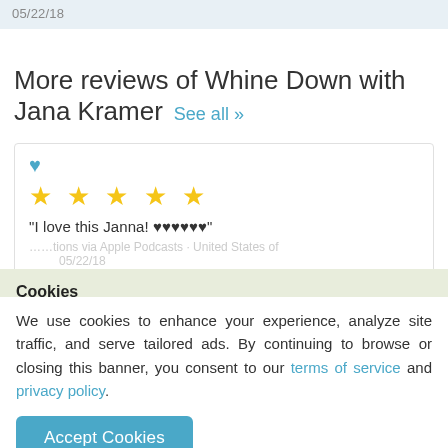05/22/18
More reviews of Whine Down with Jana Kramer  See all »
[Figure (other): Blue heart emoji icon followed by five yellow star rating symbols]
"I love this Janna! ♥♥♥♥♥♥"
Cookies
We use cookies to enhance your experience, analyze site traffic, and serve tailored ads. By continuing to browse or closing this banner, you consent to our terms of service and privacy policy.
Accept Cookies